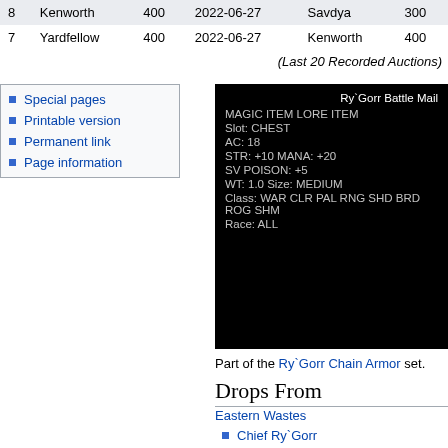|  | Name | Amount | Date | Buyer | Price |
| --- | --- | --- | --- | --- | --- |
| 8 | Kenworth | 400 | 2022-06-27 | Savdya | 300 |
| 7 | Yardfellow | 400 | 2022-06-27 | Kenworth | 400 |
(Last 20 Recorded Auctions)
Special pages
Printable version
Permanent link
Page information
[Figure (screenshot): Item tooltip for Ry`Gorr Battle Mail showing MAGIC ITEM LORE ITEM, Slot: CHEST, AC: 18, STR: +10 MANA: +20, SV POISON: +5, WT: 1.0 Size: MEDIUM, Class: WAR CLR PAL RNG SHD BRD ROG SHM, Race: ALL]
Part of the Ry`Gorr Chain Armor set.
Drops From
Eastern Wastes
Chief Ry`Gorr
Sold by
This item cannot be purchased from